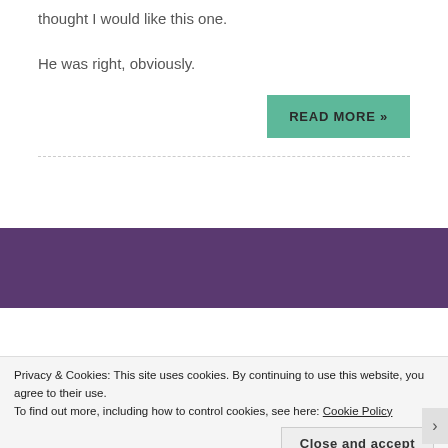thought I would like this one.
He was right, obviously.
READ MORE »
If You Think this Plac...
Privacy & Cookies: This site uses cookies. By continuing to use this website, you agree to their use.
To find out more, including how to control cookies, see here: Cookie Policy
Close and accept